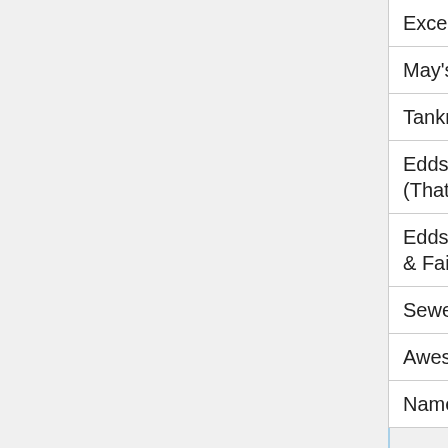| Title | Genre | Creator |
| --- | --- | --- |
| Excelent Adventur | Comedy | RogerregoRh... |
| May's Forest Training | Adult | EroPharaoh |
| Tankmen | Comedy | JohnnyUtah |
| Eddsworld: Money (That's What I Want) | Music Video | Eddsworld |
| Eddsworld: Hammer & Fail | Comedy | Eddsworld; Benjamoose; Eddache; HappyHarry; TomSka; wal... |
| Sewer Doer | Adult | Derpixon |
| Awesome Chaotix | Comedy | Egoraptor, To... |
| Nameless 4 Vol.2 | Comedy | LazyMuffin |